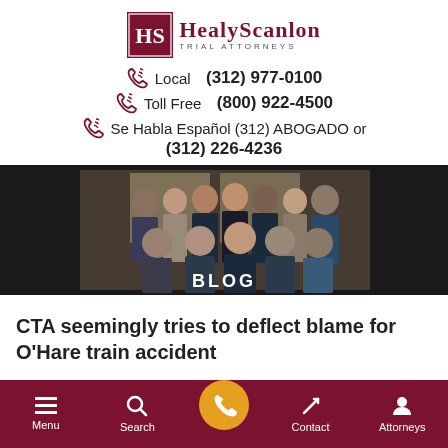[Figure (logo): Healy Scanlon Trial Attorneys logo with HS monogram badge in dark red and firm name in serif font]
Local  (312) 977-0100
Toll Free  (800) 922-4500
Se Habla Español (312) ABOGADO or (312) 226-4236
[Figure (photo): Group photo of Healy Scanlon Trial Attorneys staff in professional attire with BLOG label overlay]
CTA seemingly tries to deflect blame for O'Hare train accident
Menu  Search  [Call button]  Contact  Attorneys